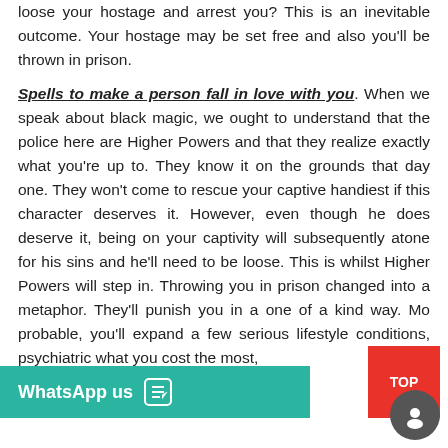loose your hostage and arrest you? This is an inevitable outcome. Your hostage may be set free and also you'll be thrown in prison.
Spells to make a person fall in love with you.
When we speak about black magic, we ought to understand that the police here are Higher Powers and that they realize exactly what you're up to. They know it on the grounds that day one. They won't come to rescue your captive handiest if this character deserves it. However, even though he does deserve it, being on your captivity will subsequently atone for his sins and he'll need to be loose. This is whilst Higher Powers will step in. Throwing you in prison changed into a metaphor. They'll punish you in a one of a kind way. Mo probable, you'll expand a few serious lifestyle conditions, psychiatric what you cost the most,